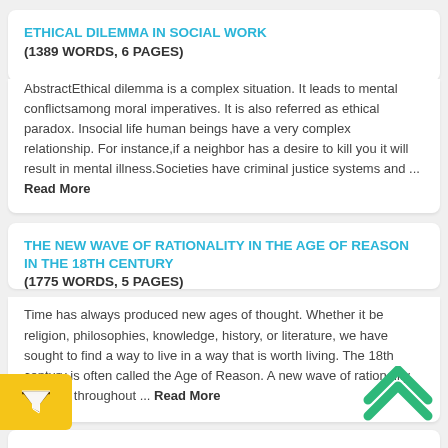ETHICAL DILEMMA IN SOCIAL WORK (1389 WORDS, 6 PAGES)
AbstractEthical dilemma is a complex situation. It leads to mental conflictsamong moral imperatives. It is also referred as ethical paradox. Insocial life human beings have a very complex relationship. For instance,if a neighbor has a desire to kill you it will result in mental illness.Societies have criminal justice systems and ... Read More
THE NEW WAVE OF RATIONALITY IN THE AGE OF REASON IN THE 18TH CENTURY (1775 WORDS, 5 PAGES)
Time has always produced new ages of thought. Whether it be religion, philosophies, knowledge, history, or literature, we have sought to find a way to live in a way that is worth living. The 18th century is often called the Age of Reason. A new wave of rationality traveled throughout ... Read More